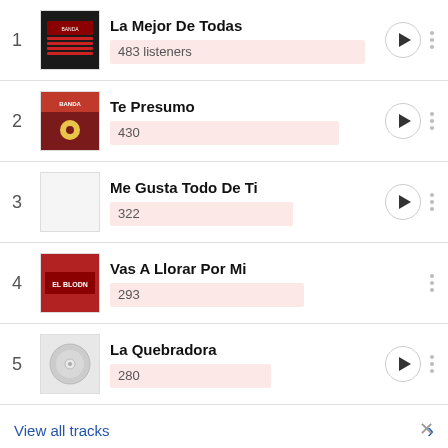1 La Mejor De Todas - 483 listeners
2 Te Presumo - 430
3 Me Gusta Todo De Ti - 322
4 Vas A Llorar Por Mi - 293
5 La Quebradora - 280
View all tracks